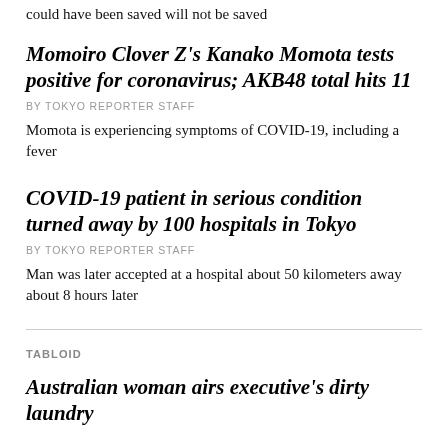could have been saved will not be saved
Momoiro Clover Z's Kanako Momota tests positive for coronavirus; AKB48 total hits 11
BY TOKYO REPORTER STAFF
Momota is experiencing symptoms of COVID-19, including a fever
COVID-19 patient in serious condition turned away by 100 hospitals in Tokyo
BY TOKYO REPORTER STAFF
Man was later accepted at a hospital about 50 kilometers away about 8 hours later
TABLOID
Australian woman airs executive's dirty laundry